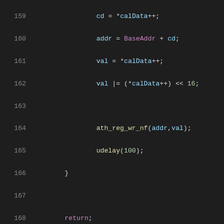Source code listing lines 159-180, showing C code with syntax highlighting. Lines 159-169 contain code with variable assignments (cd, addr, val), function calls (ath_reg_wr_nf, udelay), closing braces, and return statement. Lines 172-180 contain a Doxygen comment block describing pci host initialization.